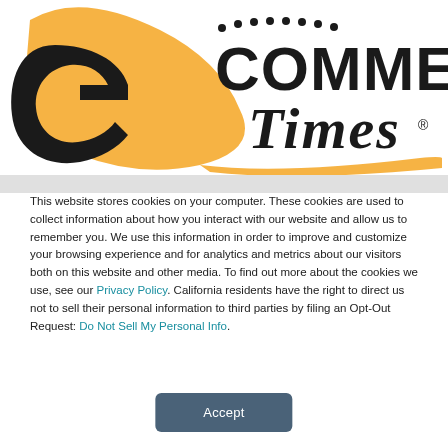[Figure (logo): E-Commerce Times logo with orange swoosh/e-letter graphic on the left and 'E COMMERCE Times' text in bold serif/gothic fonts on the right]
This website stores cookies on your computer. These cookies are used to collect information about how you interact with our website and allow us to remember you. We use this information in order to improve and customize your browsing experience and for analytics and metrics about our visitors both on this website and other media. To find out more about the cookies we use, see our Privacy Policy. California residents have the right to direct us not to sell their personal information to third parties by filing an Opt-Out Request: Do Not Sell My Personal Info.
Accept